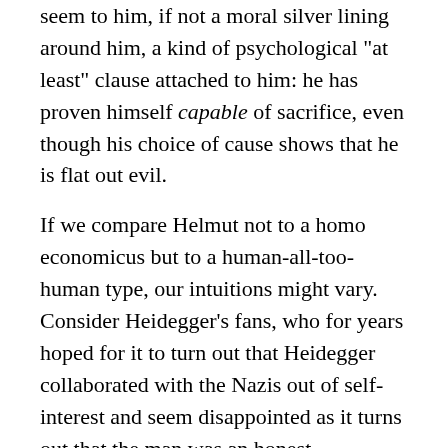seem to him, if not a moral silver lining around him, a kind of psychological "at least" clause attached to him: he has proven himself capable of sacrifice, even though his choice of cause shows that he is flat out evil.

If we compare Helmut not to a homo economicus but to a human-all-too-human type, our intuitions might vary. Consider Heidegger's fans, who for years hoped for it to turn out that Heidegger collaborated with the Nazis out of self-interest and seem disappointed as it turns out that the man was an honest, ideological Nazi. It's not that they hoped he was Banker, but they hoped he was a banal sellout rather than a more sinister sort of person. That goes well with my